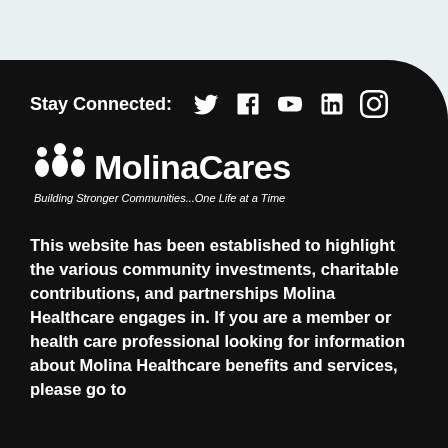Stay Connected:
[Figure (logo): MolinaCares logo with three people figures and tagline: Building Stronger Communities...One Life at a Time]
This website has been established to highlight the various community investments, charitable contributions, and partnerships Molina Healthcare engages in. If you are a member or health care professional looking for information about Molina Healthcare benefits and services, please go to